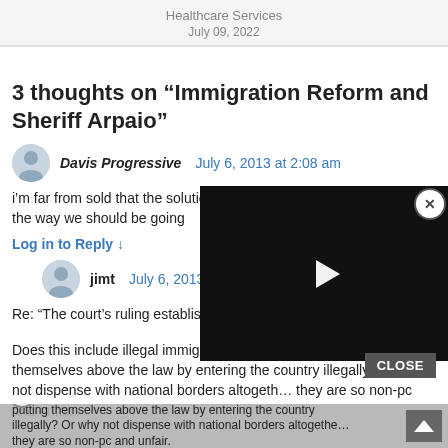Healthcare Services
July 09, 2022
3 thoughts on “Immigration Reform and Sheriff Arpaio”
Davis Progressive  July 6, 2013 at 2:08 am
i’m far from sold that the solution d... the way we should be going
Log in to Reply ↓
jimt  July 6, 2013 at 11:43 a...
Re: “The court’s ruling established that no one is above the law …”
Does this include illegal immigrants themselves? A... not putting themselves above the law by entering the country illegally? Or why not dispense with national borders altogether... they are so non-pc and unfair.
[Figure (screenshot): A video player overlay (black rectangle) with a white play button triangle, partially covering the right side of the page]
CLOSE